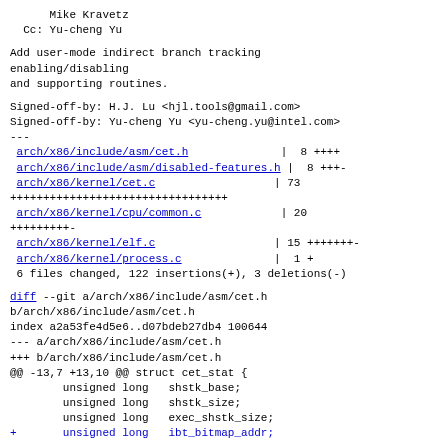Mike Kravetz
 Cc: Yu-cheng Yu
Add user-mode indirect branch tracking
enabling/disabling
and supporting routines.
Signed-off-by: H.J. Lu <hjl.tools@gmail.com>
Signed-off-by: Yu-cheng Yu <yu-cheng.yu@intel.com>
---
 arch/x86/include/asm/cet.h              |  8 ++++
 arch/x86/include/asm/disabled-features.h |  8 +++-
 arch/x86/kernel/cet.c                  | 73
+++++++++++++++++++++++++++++++++
 arch/x86/kernel/cpu/common.c            | 20
+++++++++-
 arch/x86/kernel/elf.c                  | 15 +++++++-
 arch/x86/kernel/process.c              |  1 +
 6 files changed, 122 insertions(+), 3 deletions(-)
diff --git a/arch/x86/include/asm/cet.h
b/arch/x86/include/asm/cet.h
index a2a53fe4d5e6..d07bdeb27db4 100644
--- a/arch/x86/include/asm/cet.h
+++ b/arch/x86/include/asm/cet.h
@@ -13,7 +13,10 @@ struct cet_stat {
        unsigned long   shstk_base;
        unsigned long   shstk_size;
        unsigned long   exec_shstk_size;
+       unsigned long   ibt_bitmap_addr;